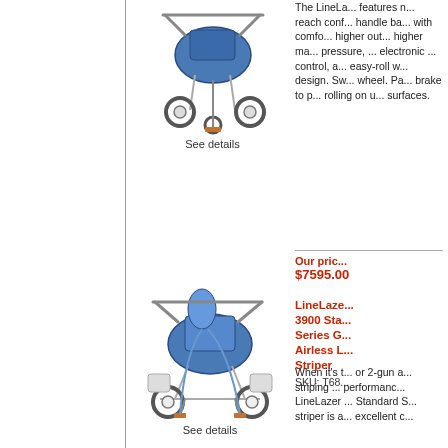[Figure (photo): LineLazer airless line striper machine, blue and white, top product]
See details
The LineLa... features n... reach conf... handle ba... with comfo... higher out... higher ma... pressure, ... electronic ... control, a... easy-roll w... design. Sw... wheel. Pa... brake to p... rolling on u... surfaces.
Our pric...
$7595.00
LineLaze... 3900 Sta... Series G... Airless L... Striper
SKU: T68...
[Figure (photo): LineLazer 3900 Standard Series Gas Airless Line Striper, blue, bottom product]
See details
When it's t... or 2-gun a... striping ... performanc... LineLazer ... Standard S... striper is a... excellent c...